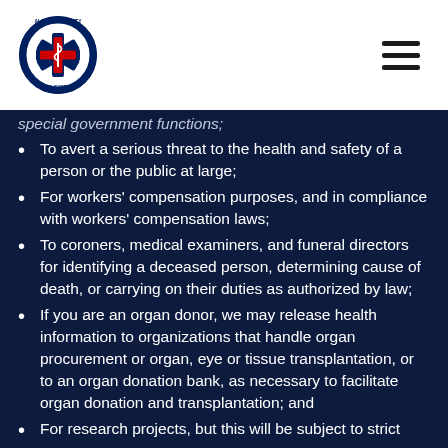Alachua County EMS System logo and navigation menu
special government functions;
To avert a serious threat to the health and safety of a person or the public at large;
For workers' compensation purposes, and in compliance with workers' compensation laws;
To coroners, medical examiners, and funeral directors for identifying a deceased person, determining cause of death, or carrying on their duties as authorized by law;
If you are an organ donor, we may release health information to organizations that handle organ procurement or organ, eye or tissue transplantation, or to an organ donation bank, as necessary to facilitate organ donation and transplantation; and
For research projects, but this will be subject to strict